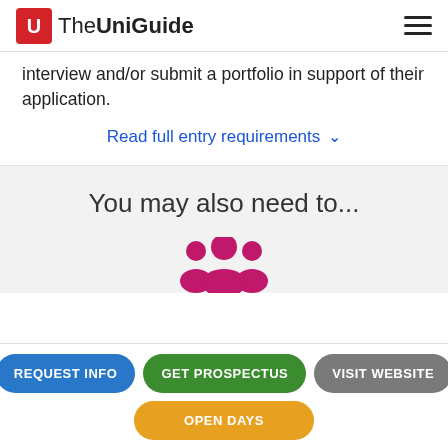The UniGuide
interview and/or submit a portfolio in support of their application.
Read full entry requirements
You may also need to...
[Figure (illustration): Pink/magenta group of people icon representing open days or university visit]
REQUEST INFO
GET PROSPECTUS
VISIT WEBSITE
OPEN DAYS